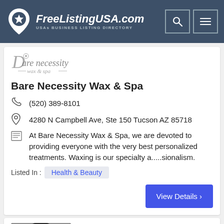FreeListingUSA.com — USAs BUSINESS LISTING DIRECTORY
[Figure (logo): Bare Necessity wax & spa logo — cursive text with decorative swirls]
Bare Necessity Wax & Spa
(520) 389-8101
4280 N Campbell Ave, Ste 150 Tucson AZ 85718
At Bare Necessity Wax & Spa, we are devoted to providing everyone with the very best personalized treatments. Waxing is our specialty a.....sionalism.
Listed In :  Health & Beauty
View Details >
[Figure (photo): Partial photo of a woman with dark hair, cropped at bottom of page]